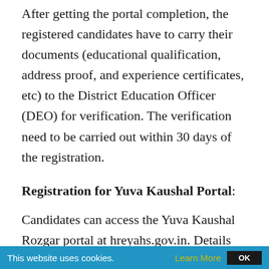After getting the portal completion, the registered candidates have to carry their documents (educational qualification, address proof, and experience certificates, etc) to the District Education Officer (DEO) for verification. The verification need to be carried out within 30 days of the registration.
Registration for Yuva Kaushal Portal:
Candidates can access the Yuva Kaushal Rozgar portal at hreyahs.gov.in. Details regarding Private and Government sector jobs in Haryana and Centre are displayed on the portal.
About HKRN: Haryana Kaushal Rozgar Nigam Limited is incorporated under the Companies...
This website uses cookies. Learn More OK